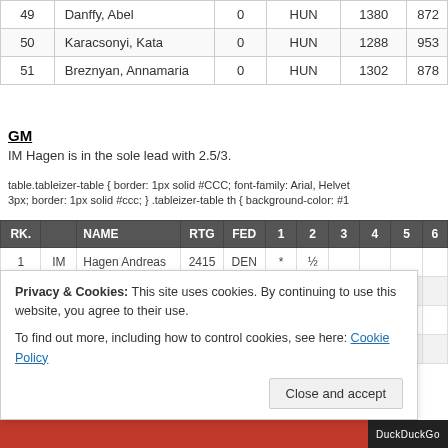|  | Name |  | FED | RTG |  |
| --- | --- | --- | --- | --- | --- |
| 49 | Danffy, Abel | 0 | HUN | 1380 | 872 |
| 50 | Karacsonyi, Kata | 0 | HUN | 1288 | 953 |
| 51 | Breznyan, Annamaria | 0 | HUN | 1302 | 878 |
GM
IM Hagen is in the sole lead with 2.5/3.
table.tableizer-table { border: 1px solid #CCC; font-family: Arial, Helvet 3px; border: 1px solid #ccc; } .tableizer-table th { background-color: #1
| RK. |  | NAME | RTG | FED | 1 | 2 | 3 | 4 | 5 | 6 |
| --- | --- | --- | --- | --- | --- | --- | --- | --- | --- | --- |
| 1 | IM | Hagen Andreas | 2415 | DEN | * | ½ |  |  |  |  |
| 2 | GM | Medvegy Zoltan | 2560 | HUN | ½ | * |  | ½ |  |  |
| 3 | GM | Gonda Laszlo | 2538 | HUN |  |  | * |  | ½ |  |
| 4 | FM | Jovanovic Dusan | 2402 | SRB |  | ½ |  | * | 1 |  |
Privacy & Cookies: This site uses cookies. By continuing to use this website, you agree to their use. To find out more, including how to control cookies, see here: Cookie Policy
Close and accept